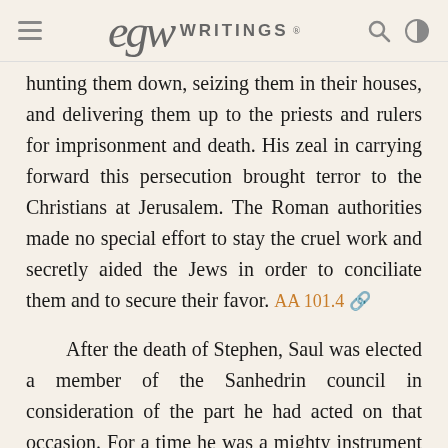EGW WRITINGS®
hunting them down, seizing them in their houses, and delivering them up to the priests and rulers for imprisonment and death. His zeal in carrying forward this persecution brought terror to the Christians at Jerusalem. The Roman authorities made no special effort to stay the cruel work and secretly aided the Jews in order to conciliate them and to secure their favor. AA 101.4
After the death of Stephen, Saul was elected a member of the Sanhedrin council in consideration of the part he had acted on that occasion. For a time he was a mighty instrument in the hands of Satan to carry out his rebellion against the Son of God. But soon this relentless persecutor was to be employed in building up the church that he was now tearing